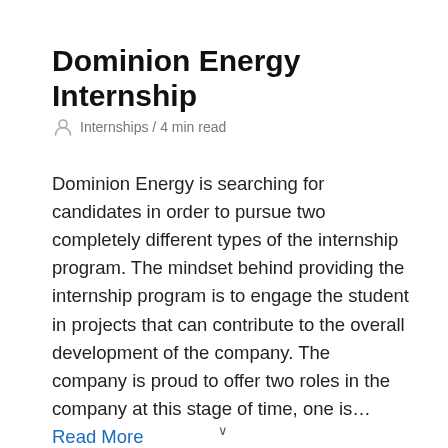Dominion Energy Internship
Internships / 4 min read
Dominion Energy is searching for candidates in order to pursue two completely different types of the internship program. The mindset behind providing the internship program is to engage the student in projects that can contribute to the overall development of the company. The company is proud to offer two roles in the company at this stage of time, one is… Read More »